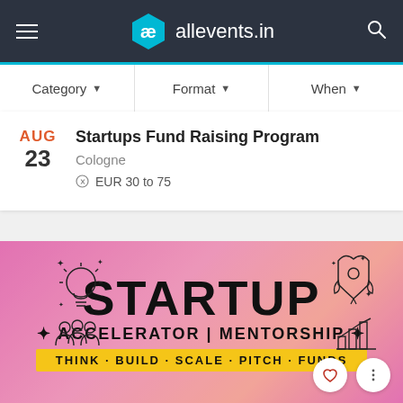allevents.in
Category ▼   Format ▼   When ▼
AUG 23 – Startups Fund Raising Program – Cologne – EUR 30 to 75
[Figure (infographic): Startup Accelerator Mentorship banner with text: STARTUP, ACCELERATOR | MENTORSHIP, THINK · BUILD · SCALE · PITCH · FUNDS, with light bulb, rocket, bar chart, and people icons on a pink/purple gradient background]